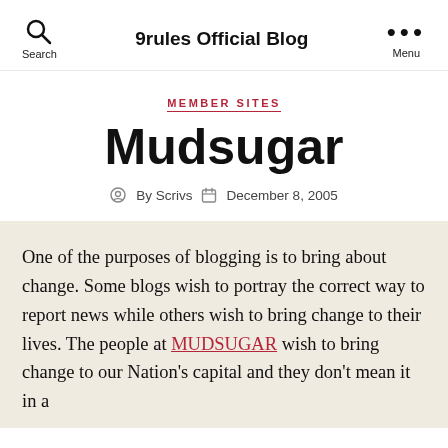9rules Official Blog
MEMBER SITES
Mudsugar
By Scrivs   December 8, 2005
One of the purposes of blogging is to bring about change. Some blogs wish to portray the correct way to report news while others wish to bring change to their lives. The people at MUDSUGAR wish to bring change to our Nation's capital and they don't mean it in a